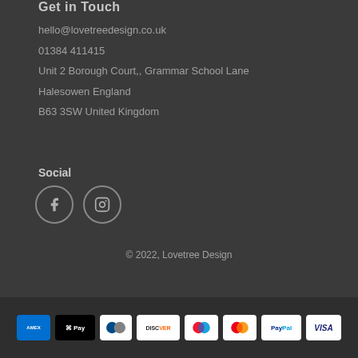Get in Touch
hello@lovetreedesign.co.uk
01384 411415
Unit 2 Borough Court,, Grammar School Lane
Halesowen England
B63 3SW United Kingdom
Social
[Figure (illustration): Facebook and Instagram circular social media icon buttons with grey outlines]
© 2022, Lovetree Design
[Figure (illustration): Payment method icons: American Express, Apple Pay, Diners Club, Discover, Maestro, MasterCard, PayPal, Visa]